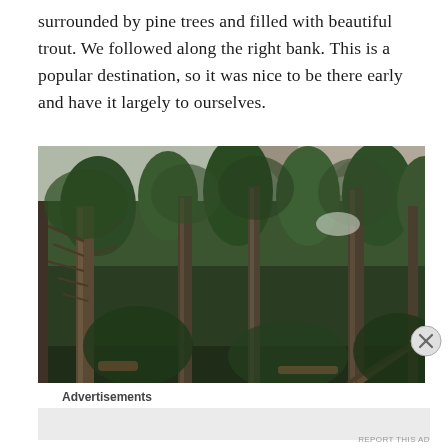surrounded by pine trees and filled with beautiful trout. We followed along the right bank. This is a popular destination, so it was nice to be there early and have it largely to ourselves.
[Figure (photo): Dense forest of tall pine trees with rocky mountain peaks visible in the background. The photo shows a mix of living evergreen trees and dead/bare tree trunks in the foreground, with snow visible on distant peaks.]
Advertisements